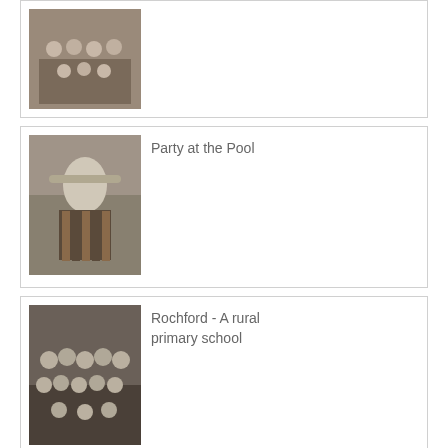[Figure (photo): Black and white group photo of seated people]
[Figure (photo): Person in striped swimwear at pool]
Party at the Pool
[Figure (photo): Group photo of school children and adults at Rochford rural primary school]
Rochford - A rural primary school
Highlights and Subject Index
[Figure (photo): Black and white photo of a small house with trees]
[Figure (photo): Black and white portrait of an older bald man with a beard]